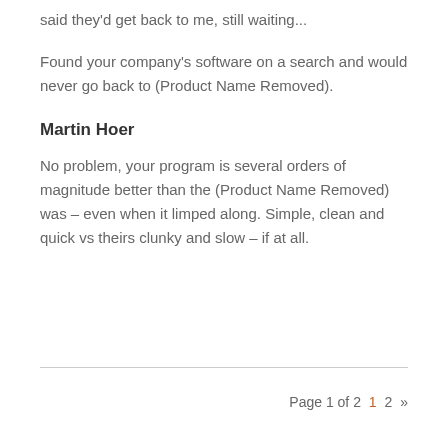said they'd get back to me, still waiting...
Found your company's software on a search and would never go back to (Product Name Removed).
Martin Hoer
No problem, your program is several orders of magnitude better than the (Product Name Removed) was – even when it limped along. Simple, clean and quick vs theirs clunky and slow – if at all.
Page 1 of 2  1  2  »